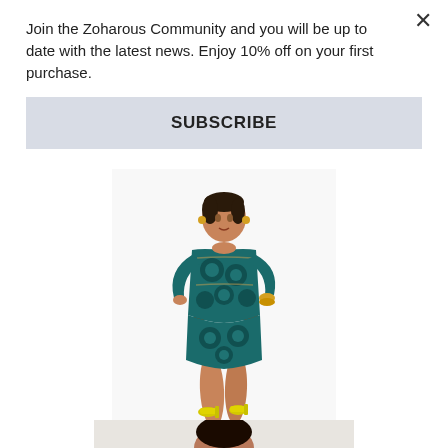Join the Zoharous Community and you will be up to date with the latest news. Enjoy 10% off on your first purchase.
SUBSCRIBE
[Figure (photo): A woman model wearing a teal and black African print fitted dress with 3/4 sleeves, posed with hands on hips, wearing bright yellow high heels, on a white background.]
[Figure (photo): Partial view of a second model with dark hair, partially visible at the bottom of the page.]